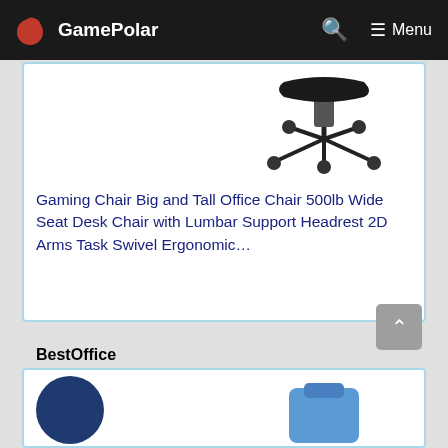GamePolar
[Figure (photo): Partial view of a gaming/office chair showing the base and wheels, black color, on white background]
Gaming Chair Big and Tall Office Chair 500lb Wide Seat Desk Chair with Lumbar Support Headrest 2D Arms Task Swivel Ergonomic...
BestOffice
8.9 ✓
Check On Amazon
[Figure (photo): Partial view of next product card with two images partially visible at bottom of page]